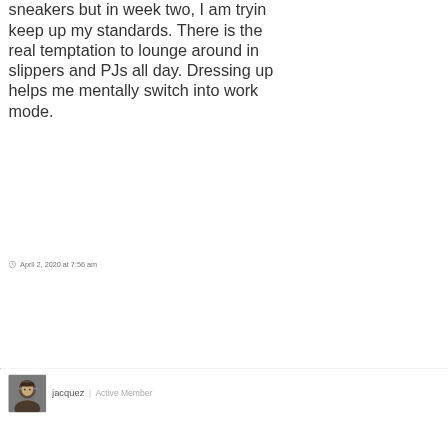sneakers but in week two, I am trying to keep up my standards. There is the real temptation to lounge around in slippers and PJs all day. Dressing up helps me mentally switch into work mode.
April 2, 2020 at 7:56 am
jacquez | Active Member